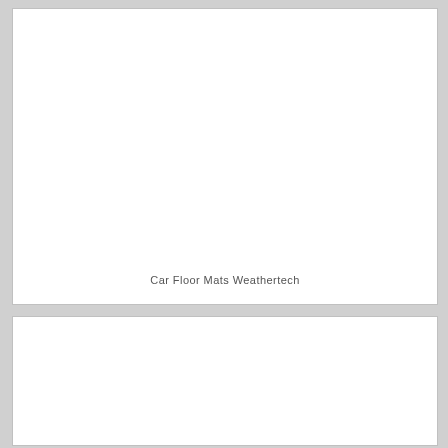[Figure (photo): Large white rectangular image box (top), mostly blank white space with caption text at bottom]
Car Floor Mats Weathertech
[Figure (photo): Second white rectangular image box (bottom), blank white space]